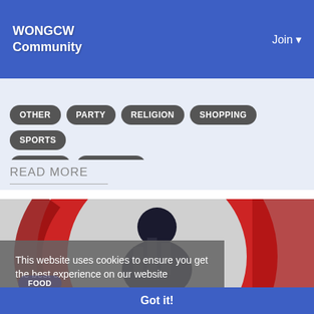WONGCW Community  Join
OTHER
PARTY
RELIGION
SHOPPING
SPORTS
THEATER
WELLNESS
READ MORE
[Figure (illustration): A circular no-symbol icon with dark silhouetted figures inside, red and dark colors, representing a food-related restriction or community graphic]
This website uses cookies to ensure you get the best experience on our website
Learn More
FOOD
Got it!